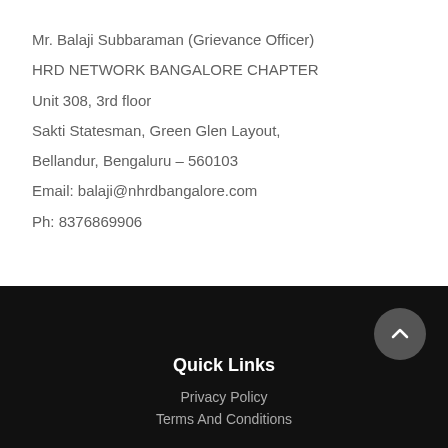Mr. Balaji Subbaraman (Grievance Officer)
HRD NETWORK BANGALORE CHAPTER
Unit 308, 3rd floor
Sakti Statesman, Green Glen Layout,
Bellandur, Bengaluru – 560103
Email: balaji@nhrdbangalore.com
Ph: 8376869906
Quick Links
Privacy Policy
Terms And Conditions